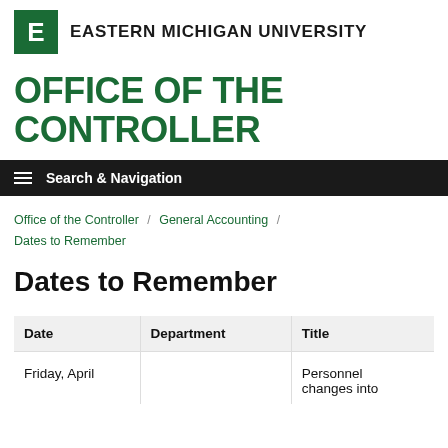EASTERN MICHIGAN UNIVERSITY
OFFICE OF THE CONTROLLER
Search & Navigation
Office of the Controller / General Accounting / Dates to Remember
Dates to Remember
| Date | Department | Title |
| --- | --- | --- |
| Friday, April |  | Personnel changes into |